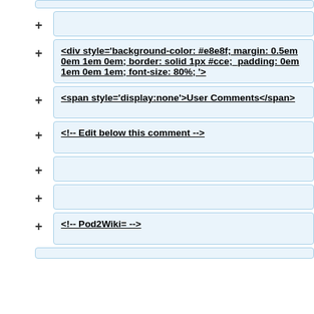+ (empty box, top partial cut off)
+ <div style='background-color: #e8e8f; margin: 0.5em 0em 1em 0em; border: solid 1px #cce;  padding: 0em 1em 0em 1em; font-size: 80%; '>
+ <span style='display:none'>User Comments</span>
+ <!-- Edit below this comment -->
+ (empty box)
+ (empty box)
+ <!-- Pod2Wiki= -->
+ (partial bottom box)